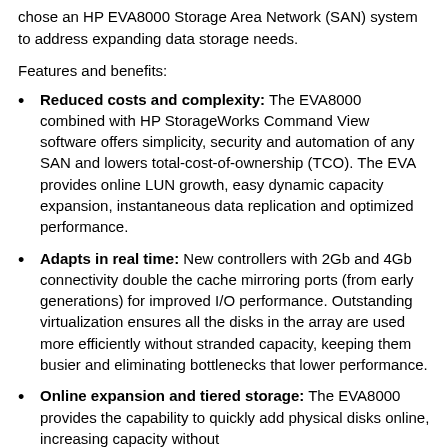chose an HP EVA8000 Storage Area Network (SAN) system to address expanding data storage needs.
Features and benefits:
Reduced costs and complexity: The EVA8000 combined with HP StorageWorks Command View software offers simplicity, security and automation of any SAN and lowers total-cost-of-ownership (TCO). The EVA provides online LUN growth, easy dynamic capacity expansion, instantaneous data replication and optimized performance.
Adapts in real time: New controllers with 2Gb and 4Gb connectivity double the cache mirroring ports (from early generations) for improved I/O performance. Outstanding virtualization ensures all the disks in the array are used more efficiently without stranded capacity, keeping them busier and eliminating bottlenecks that lower performance.
Online expansion and tiered storage: The EVA8000 provides the capability to quickly add physical disks online, increasing capacity without